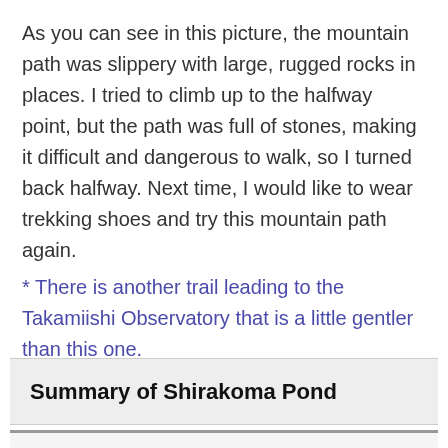As you can see in this picture, the mountain path was slippery with large, rugged rocks in places. I tried to climb up to the halfway point, but the path was full of stones, making it difficult and dangerous to walk, so I turned back halfway. Next time, I would like to wear trekking shoes and try this mountain path again.
* There is another trail leading to the Takamiishi Observatory that is a little gentler than this one.
Summary of Shirakoma Pond
Before long, I thought it was all done...